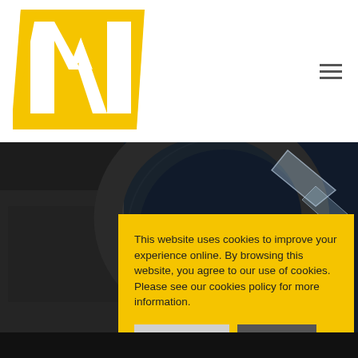[Figure (logo): Bold yellow M logo on white background]
[Figure (photo): Close-up photo of industrial machinery parts, dark metallic surface with circular elements and transparent component]
This website uses cookies to improve your experience online. By browsing this website, you agree to our use of cookies. Please see our cookies policy for more information.
Cookie Settings
Accept All